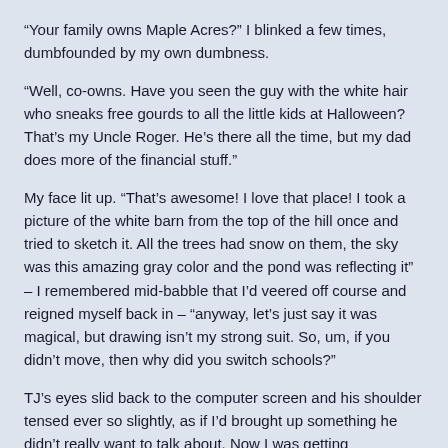“Your family owns Maple Acres?” I blinked a few times, dumbfounded by my own dumbness.
“Well, co-owns. Have you seen the guy with the white hair who sneaks free gourds to all the little kids at Halloween? That’s my Uncle Roger. He’s there all the time, but my dad does more of the financial stuff.”
My face lit up. “That’s awesome! I love that place! I took a picture of the white barn from the top of the hill once and tried to sketch it. All the trees had snow on them, the sky was this amazing gray color and the pond was reflecting it” – I remembered mid-babble that I’d veered off course and reigned myself back in – “anyway, let’s just say it was magical, but drawing isn’t my strong suit. So, um, if you didn’t move, then why did you switch schools?”
TJ’s eyes slid back to the computer screen and his shoulder tensed ever so slightly, as if I’d brought up something he didn’t really want to talk about. Now I was getting somewhere.
“Our property is right at the intersection of three town lines. Technically, I could’ve gone to any one of the high schools.” He stabbed a few keys with his pointer finger, eliciting three clipped clicks.